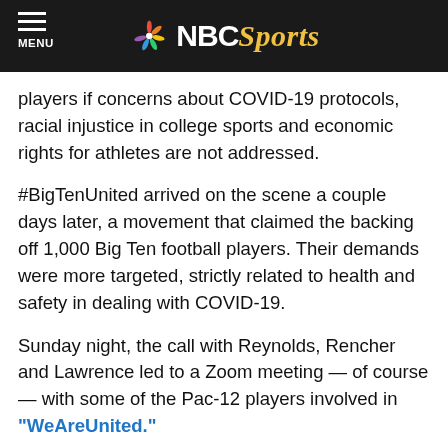NBC Sports
players if concerns about COVID-19 protocols, racial injustice in college sports and economic rights for athletes are not addressed.
#BigTenUnited arrived on the scene a couple days later, a movement that claimed the backing off 1,000 Big Ten football players. Their demands were more targeted, strictly related to health and safety in dealing with COVID-19.
Sunday night, the call with Reynolds, Rencher and Lawrence led to a Zoom meeting — of course — with some of the Pac-12 players involved in "WeAreUnited."
Washington State defensive lineman Dallas Hobbs got to work on a graphic and now the movement is officially nationwide.
"I started becoming wide-eyed by the boldness and...